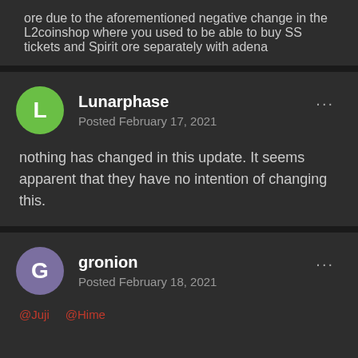ore due to the aforementioned negative change in the L2coinshop where you used to be able to buy SS tickets and Spirit ore separately with adena
Lunarphase
Posted February 17, 2021
nothing has changed in this update. It seems apparent that they have no intention of changing this.
gronion
Posted February 18, 2021
@Juji @Hime